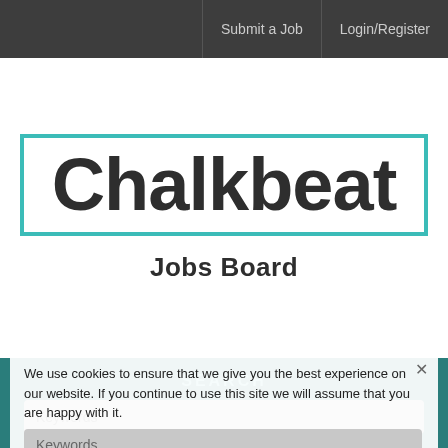Submit a Job | Login/Register
[Figure (logo): Chalkbeat logo with teal hand-drawn rectangle border and bold dark text reading 'Chalkbeat']
Jobs Board
SEARCH
We use cookies to ensure that we give you the best experience on our website. If you continue to use this site we will assume that you are happy with it.
Keywords
Location
Ok